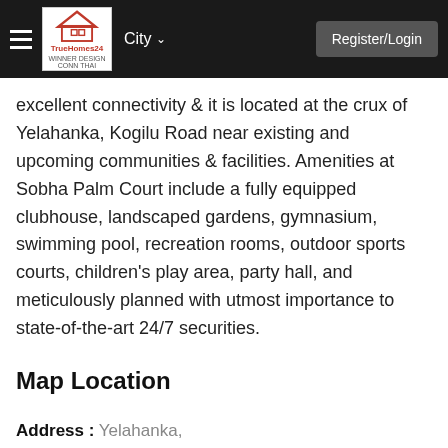TrueHomes24 | City | Register/Login
excellent connectivity & it is located at the crux of Yelahanka, Kogilu Road near existing and upcoming communities & facilities. Amenities at Sobha Palm Court include a fully equipped clubhouse, landscaped gardens, gymnasium, swimming pool, recreation rooms, outdoor sports courts, children's play area, party hall, and meticulously planned with utmost importance to state-of-the-art 24/7 securities.
Map Location
Address : Yelahanka,
City : Bangalore
State : Karnataka
Country : India